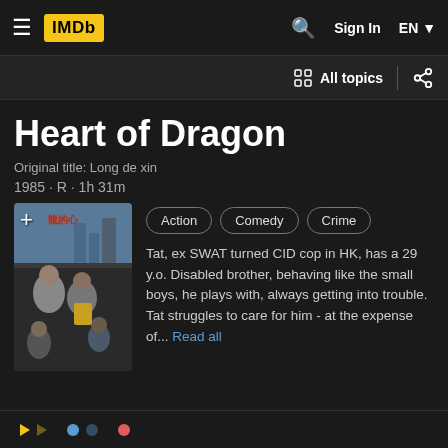IMDb — Sign In EN
All topics
Heart of Dragon
Original title: Long de xin
1985 · R · 1h 31m
[Figure (photo): Movie poster for Heart of Dragon with + button overlay]
Action
Comedy
Crime
Tat, ex SWAT turned CID cop in HK, has a 29 y.o. Disabled brother, behaving like the small boys, he plays with, always getting into trouble. Tat struggles to care for him - at the expense of... Read all